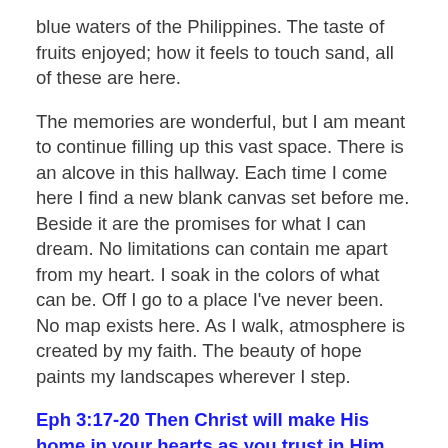blue waters of the Philippines. The taste of fruits enjoyed; how it feels to touch sand, all of these are here.
The memories are wonderful, but I am meant to continue filling up this vast space. There is an alcove in this hallway. Each time I come here I find a new blank canvas set before me. Beside it are the promises for what I can dream. No limitations can contain me apart from my heart. I soak in the colors of what can be. Off I go to a place I've never been. No map exists here. As I walk, atmosphere is created by my faith. The beauty of hope paints my landscapes wherever I step.
Eph 3:17-20 Then Christ will make His home in your hearts as you trust in Him. Your roots will grow down into God's love and keep you strong. And may you have the power to understand, as all God's people should, how wide how long, how high, and